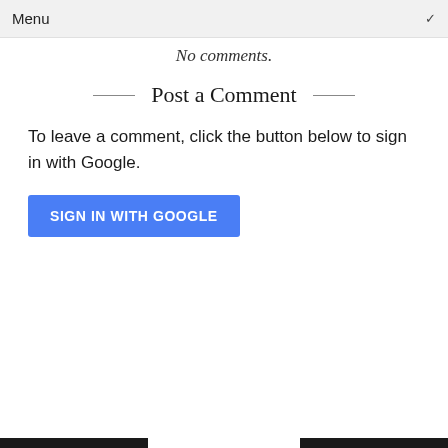Menu
No comments.
Post a Comment
To leave a comment, click the button below to sign in with Google.
SIGN IN WITH GOOGLE